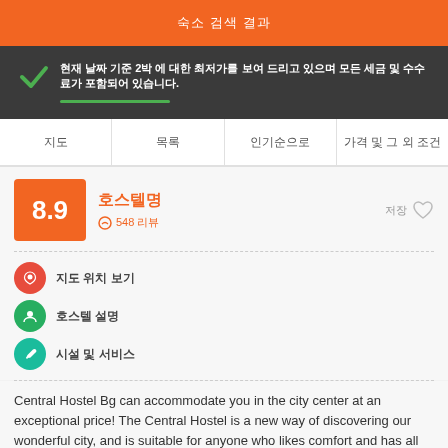숙소 검색 결과
현재 날짜 기준 2박 에 대한 최저가를 보여 드리고 있으며 모든 세금 및 수수료가 포함되어 있습니다.
지도 | 목록 | 인기순으로 | 가격 및 그 외 조건
8.9
호스텔명
548 리뷰
저장
지도 위치 보기
호스텔 설명
시설 및 서비스
Central Hostel Bg can accommodate you in the city center at an exceptional price! The Central Hostel is a new way of discovering our wonderful city, and is suitable for anyone who likes comfort and has all the facilities within walking distance.